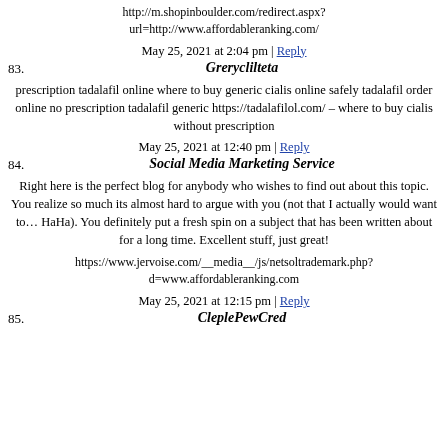http://m.shopinboulder.com/redirect.aspx?url=http://www.affordableranking.com/
May 25, 2021 at 2:04 pm | Reply
83. Greryclilteta
prescription tadalafil online where to buy generic cialis online safely tadalafil order online no prescription tadalafil generic https://tadalafilol.com/ – where to buy cialis without prescription
May 25, 2021 at 12:40 pm | Reply
84. Social Media Marketing Service
Right here is the perfect blog for anybody who wishes to find out about this topic. You realize so much its almost hard to argue with you (not that I actually would want to… HaHa). You definitely put a fresh spin on a subject that has been written about for a long time. Excellent stuff, just great!
https://www.jervoise.com/__media__/js/netsoltrademark.php?d=www.affordableranking.com
May 25, 2021 at 12:15 pm | Reply
85. CleplePewCred